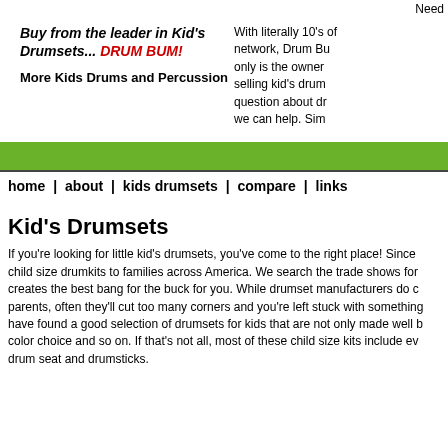Need
Buy from the leader in Kid's Drumsets... DRUM BUM!
More Kids Drums and Percussion
With literally 10's of network, Drum Bu only is the owner selling kid's drum question about dr we can help. Sim
home | about | kids drumsets | compare | links
Kid's Drumsets
If you're looking for little kid's drumsets, you've come to the right place! Since child size drumkits to families across America. We search the trade shows for creates the best bang for the buck for you. While drumset manufacturers do c parents, often they'll cut too many corners and you're left stuck with something have found a good selection of drumsets for kids that are not only made well b color choice and so on. If that's not all, most of these child size kits include ev drum seat and drumsticks.